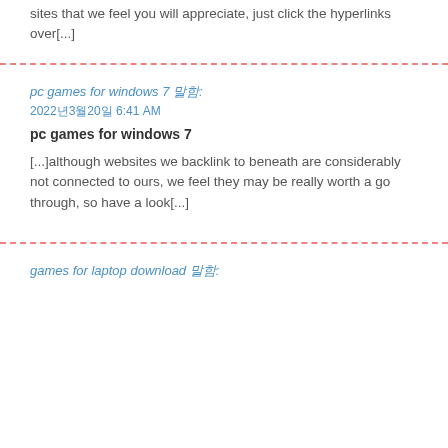sites that we feel you will appreciate, just click the hyperlinks over[...]
pc games for windows 7 말함:
2022년3월20일 6:41 AM
pc games for windows 7
[...]although websites we backlink to beneath are considerably not connected to ours, we feel they may be really worth a go through, so have a look[...]
games for laptop download 말함: